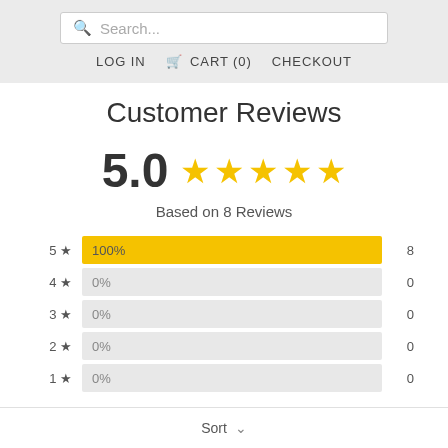Search... | LOG IN  CART (0)  CHECKOUT
Customer Reviews
5.0 ★★★★★
Based on 8 Reviews
[Figure (bar-chart): Rating Distribution]
✎ Write a Review
Sort ∨